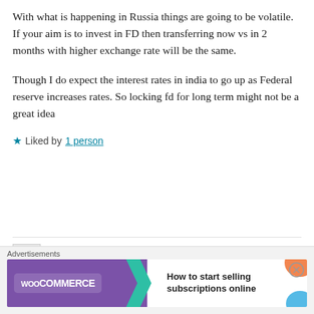With what is happening in Russia things are going to be volatile. If your aim is to invest in FD then transferring now vs in 2 months with higher exchange rate will be the same.
Though I do expect the interest rates in india to go up as Federal reserve increases rates. So locking fd for long term might not be a great idea
★ Liked by 1 person
★ Aditya
MARCH 7, 2022 AT 4:38 AM
Rates at 56.45 today
[Figure (other): WooCommerce advertisement banner: 'How to start selling subscriptions online']